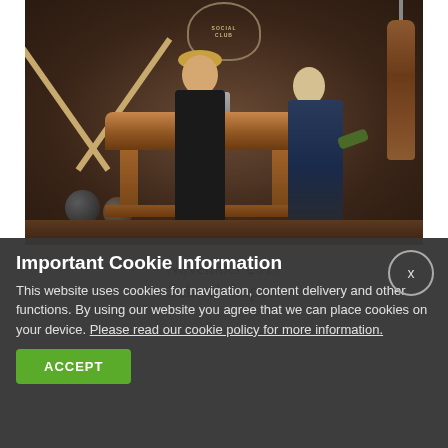[Figure (photo): Two women in a vintage gym/boxing studio setting. One woman is behind a pommel horse wearing boxing gloves and dark clothing, the other stands beside it wearing a vest over a white shirt with boxing gloves raised. Crossed sticks on left wall, Social Club logo at top, punching bag on right, bowling balls on floor. Dark leather-toned background.]
November 2017
Schwab Impact
Important Cookie Information
This website uses cookies for navigation, content delivery and other functions. By using our website you agree that we can place cookies on your device. Please read our cookie policy for more information.
ACCEPT